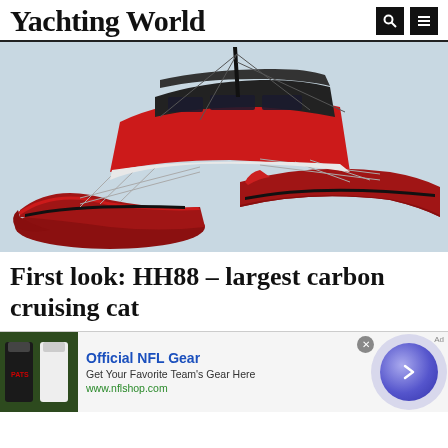Yachting World
[Figure (photo): 3D render of the HH88 carbon cruising catamaran in red and black, viewed from a front-quarter angle on a light grey background. The catamaran has twin hulls, a large superstructure, mast with rigging, and deck railings.]
First look: HH88 – largest carbon cruising cat
[Figure (infographic): Advertisement banner for Official NFL Gear featuring NFL jerseys on the left, ad text in the center (Official NFL Gear, Get Your Favorite Team's Gear Here, www.nflshop.com), and a purple/blue circular arrow button on the right. An X close button appears in the top right.]